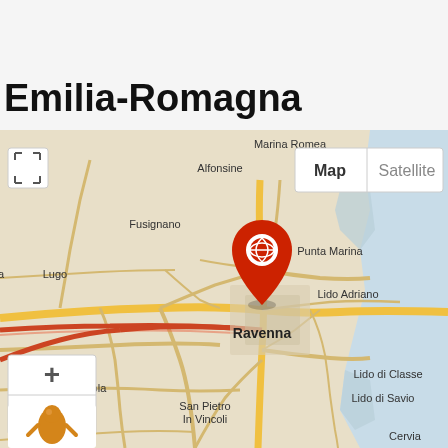Emilia-Romagna
[Figure (map): Google Maps view of the Emilia-Romagna region in Italy, centered on Ravenna with a red location pin. Map shows surrounding towns including Alfonsine, Fusignano, Lugo, Cotignola, Faenza, San Pietro In Vincoli, Marina Romea, Punta Marina, Lido Adriano, Lido di Classe, Lido di Savio, and Cervia. Map controls include zoom in (+) and zoom out (-) buttons, a full-screen toggle, a Street View pegman, and Map/Satellite toggle buttons.]